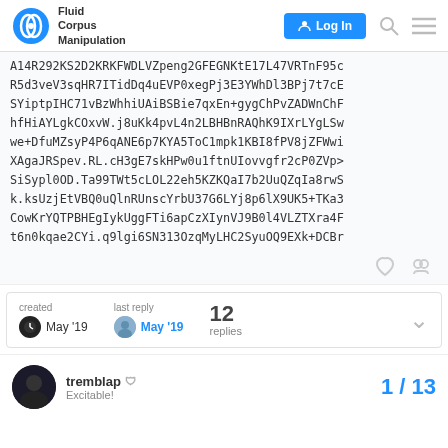Fluid Corpus Manipulation | Log In
A14R292KS2D2KRKFWDLVZpeng2GFEGNKtE17L47VRTnF95c
R5d3veV3sqHR7ITidDq4uEVP0xegPj3E3YWhDl3BPj7t7cE
SYiptpIHC71vBzWhhiUAiBSBie7qxEn+gygChPvZADWnChF
hfHiAYLgkCOxvW.j8uKk4pvL4n2LBHBnRAQhK9IXrLYgLSw
we+DfuMZsyP4P6qANE6p7KYA5ToC1mpk1KBI8fPV8jZFWwi
XAgaJRSpev.RL.cH3gE7skHPw0u1ftnUIovvgfr2cP0ZVp>
SiSypl0OD.Ta99TWt5cLOL22eh5KZKQaI7b2UuQZqIa8rwS
k.ksUzjEtVBQ0uQlnRUnscYrbU37G6LYj8p6lX9UK5+TKa3
CowKrYQTPBHEgIykUggFTi6apCzXIynVJ9B0l4VLZTXra4F
t6n0kqae2CYi.q9lgi6SN313OzqMyLHC2SyuOQ9EXk+DCBr
created May '19 | last reply May '19 | 12 replies
tremblap | Excitable! | 1 / 13